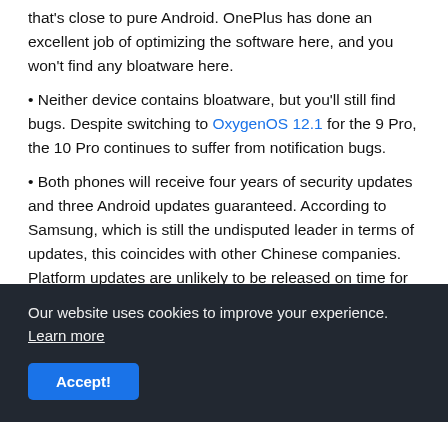that's close to pure Android. OnePlus has done an excellent job of optimizing the software here, and you won't find any bloatware here.
Neither device contains bloatware, but you'll still find bugs. Despite switching to OxygenOS 12.1 for the 9 Pro, the 10 Pro continues to suffer from notification bugs.
Both phones will receive four years of security updates and three Android updates guaranteed. According to Samsung, which is still the undisputed leader in terms of updates, this coincides with other Chinese companies. Platform updates are unlikely to be released on time for either device here. Although OnePlus was once among the first to roll out platform updates, it has significantly...
Our website uses cookies to improve your experience. Learn more
Accept!